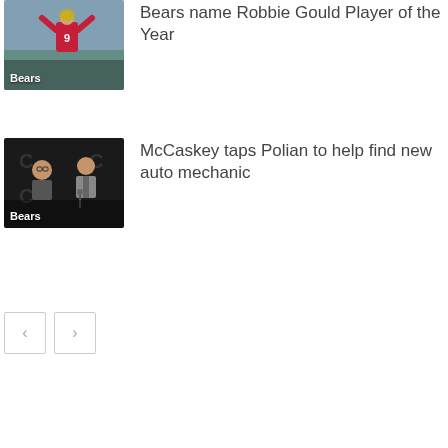[Figure (photo): Football player wearing #9 jersey with arms raised, Bears category label]
Bears name Robbie Gould Player of the Year
[Figure (photo): Two men at podium with Chicago Bears logos in background, Bears category label]
McCaskey taps Polian to help find new auto mechanic